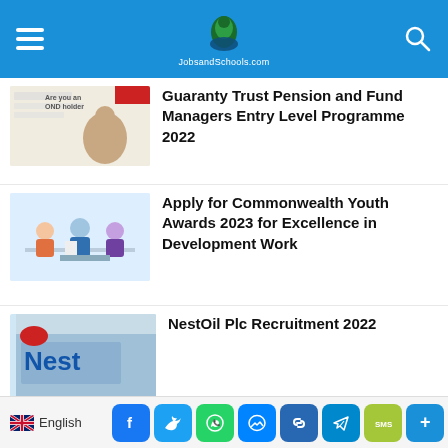JobsandSchools.com
Guaranty Trust Pension and Fund Managers Entry Level Programme 2022
Apply for Commonwealth Youth Awards 2023 for Excellence in Development Work
NestOil Plc Recruitment 2022
Vodacom Discover Graduate Programme 2023
English | Facebook | Twitter | WhatsApp | Messenger | Link | Telegram | SMS | More